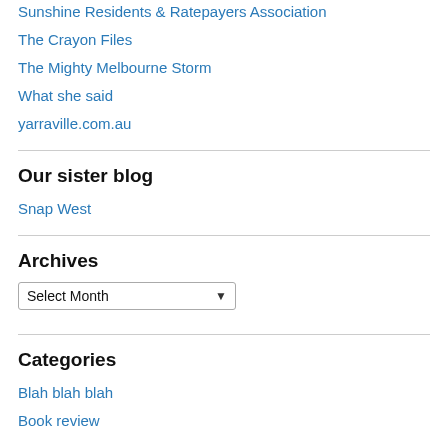The Crayon Files
The Mighty Melbourne Storm
What she said
yarraville.com.au
Our sister blog
Snap West
Archives
Select Month
Categories
Blah blah blah
Book review